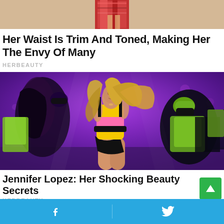[Figure (photo): Top portion of a photo showing the bottom edge of what appears to be a colorful bag or accessory on a sandy/beige background]
Her Waist Is Trim And Toned, Making Her The Envy Of Many
HERBEAUTY
[Figure (photo): Jennifer Lopez performing on stage in a colorful yellow, pink and black bodysuit with flowing blonde hair, surrounded by backup dancers in green and black outfits against a purple stage background]
Jennifer Lopez: Her Shocking Beauty Secrets
HERBEAUTY
Facebook share button and Twitter share button